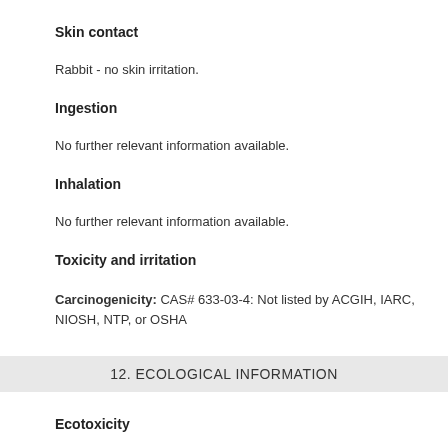Skin contact
Rabbit - no skin irritation.
Ingestion
No further relevant information available.
Inhalation
No further relevant information available.
Toxicity and irritation
Carcinogenicity: CAS# 633-03-4: Not listed by ACGIH, IARC, NIOSH, NTP, or OSHA
12. ECOLOGICAL INFORMATION
Ecotoxicity